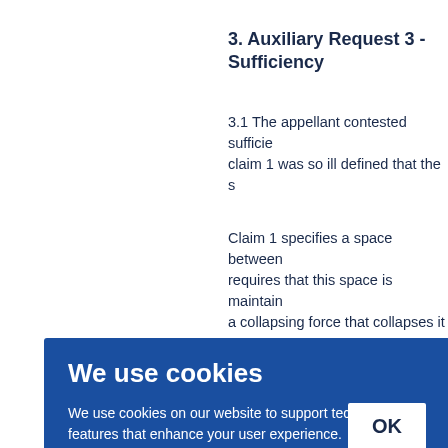3. Auxiliary Request 3 - Sufficiency
3.1 The appellant contested sufficiency of claim 1 was so ill defined that the s
Claim 1 specifies a space between requires that this space is maintain a collapsing force that collapses it t
[Figure (screenshot): Cookie consent banner overlay with blue background. Title: 'We use cookies'. Body text: 'We use cookies on our website to support technical features that enhance your user experience. We also use analytics. Access full information on cookies that we use and how to manage them'. OK button in white.]
space ent di in ord nd, th the w t be e ng me resent the